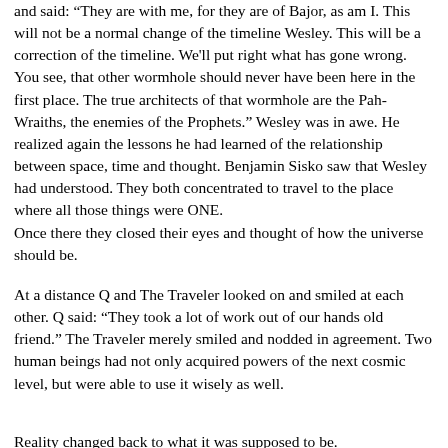and said: "They are with me, for they are of Bajor, as am I. This will not be a normal change of the timeline Wesley. This will be a correction of the timeline. We'll put right what has gone wrong. You see, that other wormhole should never have been here in the first place. The true architects of that wormhole are the Pah-Wraiths, the enemies of the Prophets." Wesley was in awe. He realized again the lessons he had learned of the relationship between space, time and thought. Benjamin Sisko saw that Wesley had understood. They both concentrated to travel to the place where all those things were ONE. Once there they closed their eyes and thought of how the universe should be.
At a distance Q and The Traveler looked on and smiled at each other. Q said: "They took a lot of work out of our hands old friend." The Traveler merely smiled and nodded in agreement. Two human beings had not only acquired powers of the next cosmic level, but were able to use it wisely as well.
Reality changed back to what it was supposed to be.
For the very first time the Death Star activated her super laser and destroyed the test target. And nothing else happened.